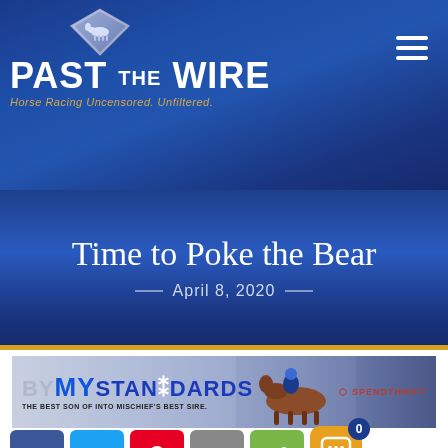[Figure (logo): Past The Wire horse racing website logo with diamond shape containing horse silhouette above the text PAST THE WIRE]
PAST THE WIRE — Horse Racing Uncensored. Unfiltered.
Time to Poke the Bear
— April 8, 2020 —
[Figure (photo): BY MY STANDARDS advertisement banner — The best son of Into Mischief's best sire. Spendthrift Farm]
[Figure (infographic): Social sharing buttons row: Facebook, Twitter, Pinterest, Email, Share. Chat widget with 0 count badge.]